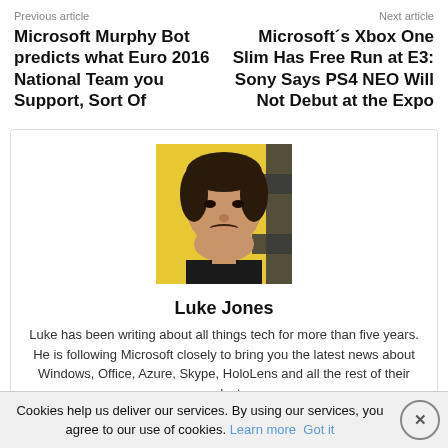Previous article    Next article
Microsoft Murphy Bot predicts what Euro 2016 National Team you Support, Sort Of
Microsoft´s Xbox One Slim Has Free Run at E3: Sony Says PS4 NEO Will Not Debut at the Expo
[Figure (photo): Headshot photo of Luke Jones against a yellow background with partial text visible]
Luke Jones
Luke has been writing about all things tech for more than five years. He is following Microsoft closely to bring you the latest news about Windows, Office, Azure, Skype, HoloLens and all the rest of their products.
Cookies help us deliver our services. By using our services, you agree to our use of cookies. Learn more  Got it